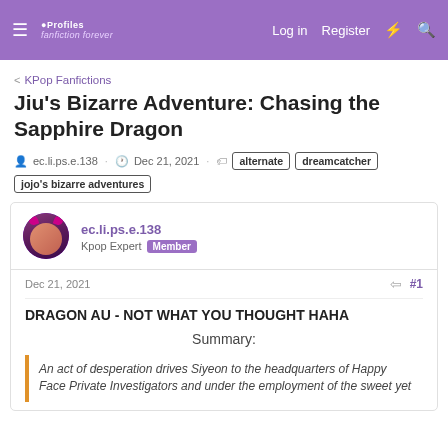KProfiles | Log in | Register
< KPop Fanfictions
Jiu's Bizarre Adventure: Chasing the Sapphire Dragon
ec.li.ps.e.138 · Dec 21, 2021 · alternate  dreamcatcher  jojo's bizarre adventures
ec.li.ps.e.138
Kpop Expert Member
Dec 21, 2021  #1
DRAGON AU - NOT WHAT YOU THOUGHT HAHA
Summary:
An act of desperation drives Siyeon to the headquarters of Happy Face Private Investigators and under the employment of the sweet yet